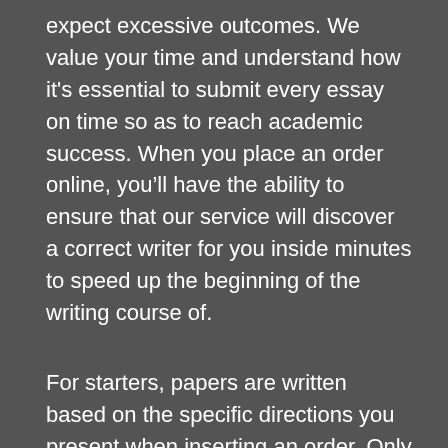expect excessive outcomes. We value your time and understand how it's essential to submit every essay on time so as to reach academic success. When you place an order online, you'll have the ability to ensure that our service will discover a correct writer for you inside minutes to speed up the beginning of the writing course of.
For starters, papers are written based on the specific directions you present when inserting an order. Only after our managers make clear all the necessities is the order assigned to an essay author online an acceptable expertise and related educational background. The next step is researching the topic and crafting a paper itself from scratch. Finally, when the piece is prepared, it undergoes a thorough anti-plagiarism examine, throughout which it's matched with web sources and our internal content database. The order is marked completed and delivered to a